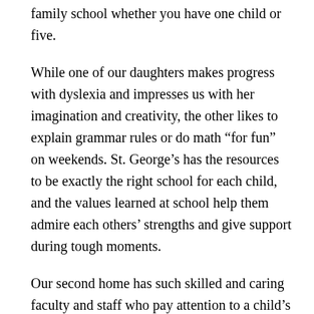family school whether you have one child or five.
While one of our daughters makes progress with dyslexia and impresses us with her imagination and creativity, the other likes to explain grammar rules or do math “for fun” on weekends. St. George’s has the resources to be exactly the right school for each child, and the values learned at school help them admire each others’ strengths and give support during tough moments.
Our second home has such skilled and caring faculty and staff who pay attention to a child’s needs and learning styles, as well as what might be going on at home. I’ve had three big surgeries while Evangeline and Vivienne have been St. George’s students; part of what made me feel ready for each were messages from teachers saying they’d give extra help to T&S. The text is cut at the bottom.